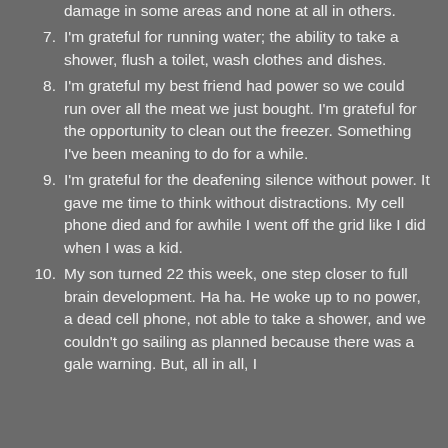damage in some areas and none at all in others.
7. I'm grateful for running water; the ability to take a shower, flush a toilet, wash clothes and dishes.
8. I'm grateful my best friend had power so we could run over all the meat we just bought. I'm grateful for the opportunity to clean out the freezer. Something I've been meaning to do for a while.
9. I'm grateful for the deafening silence without power. It gave me time to think without distractions. My cell phone died and for awhile I went off the grid like I did when I was a kid.
10. My son turned 22 this week, one step closer to full brain development. Ha ha. He woke up to no power, a dead cell phone, not able to take a shower, and we couldn't go sailing as planned because there was a gale warning. But, all in all, I